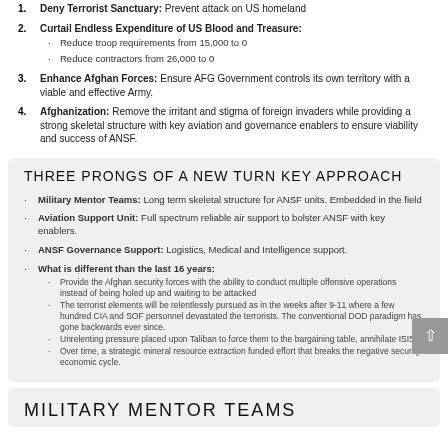1. Deny Terrorist Sanctuary: Prevent attack on US homeland
2. Curtail Endless Expenditure of US Blood and Treasure: Reduce troop requirements from 15,000 to 0; Reduce contractors from 26,000 to 0
3. Enhance Afghan Forces: Ensure AFG Government controls its own territory with a viable and effective Army.
4. Afghanization: Remove the irritant and stigma of foreign invaders while providing a strong skeletal structure with key aviation and governance enablers to ensure viability and success of ANSF.
THREE PRONGS OF A NEW TURN KEY APPROACH
Military Mentor Teams: Long term skeletal structure for ANSF units. Embedded in the field
Aviation Support Unit: Full spectrum reliable air support to bolster ANSF with key enablers.
ANSF Governance Support: Logistics, Medical and Intelligence support.
What is different than the last 16 years:
Provide the Afghan security forces with the ability to conduct multiple offensive operations instead of being holed up and waiting to be attacked
The terrorist elements will be relentlessly pursued as in the weeks after 9-11 where a few hundred CIA and SOF personnel devastated the terrorists. The conventional DOD paradigm has gone backwards ever since.
Unrelenting pressure placed upon Taliban to force them to the bargaining table, annihilate ISIS
Over time, a strategic mineral resource extraction funded effort that breaks the negative security economic cycle.
MILITARY MENTOR TEAMS